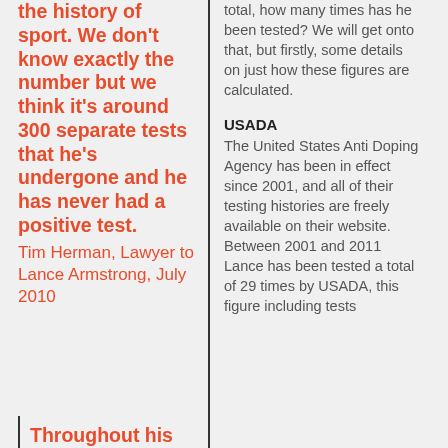the history of sport. We don't know exactly the number but we think it's around 300 separate tests that he's undergone and he has never had a positive test.
Tim Herman, Lawyer to Lance Armstrong, July 2010
total, how many times has he been tested? We will get onto that, but firstly, some details on just how these figures are calculated.
USADA
The United States Anti Doping Agency has been in effect since 2001, and all of their testing histories are freely available on their website. Between 2001 and 2011 Lance has been tested a total of 29 times by USADA, this figure including tests
Throughout his